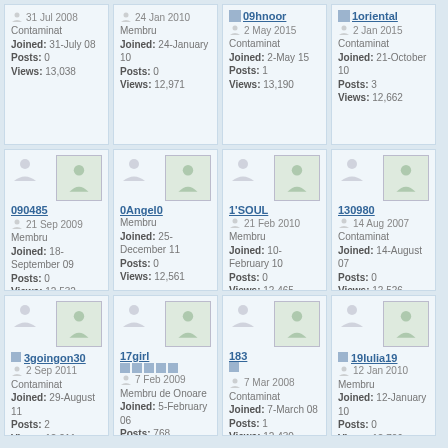| 31 Jul 2008 | Contaminat | Joined: 31-July 08 | Posts: 0 | Views: 13,038 | 24 Jan 2010 | Membru | Joined: 24-January 10 | Posts: 0 | Views: 12,971 | 09hnoor | 2 May 2015 | Contaminat | Joined: 2-May 15 | Posts: 1 | Views: 13,190 | 1oriental | 2 Jan 2015 | Contaminat | Joined: 21-October 10 | Posts: 3 | Views: 12,662 |
| 090485 | 21 Sep 2009 | Membru | Joined: 18-September 09 | Posts: 0 | Views: 12,532 | 0Angel0 | Membru | Joined: 25-December 11 | Posts: 0 | Views: 12,561 | 1'SOUL | 21 Feb 2010 | Membru | Joined: 10-February 10 | Posts: 0 | Views: 12,465 | 130980 | 14 Aug 2007 | Contaminat | Joined: 14-August 07 | Posts: 0 | Views: 12,526 |
| 3goingon30 | 2 Sep 2011 | Contaminat | Joined: 29-August 11 | Posts: 2 | Views: 12,211 | 17girl | 7 Feb 2009 | Membru de Onoare | Joined: 5-February 06 | Posts: 768 | Views: 34,862 | 183 | 7 Mar 2008 | Contaminat | Joined: 7-March 08 | Posts: 1 | Views: 12,430 | 19Iulia19 | 12 Jan 2010 | Membru | Joined: 12-January 10 | Posts: 0 | Views: 12,706 |